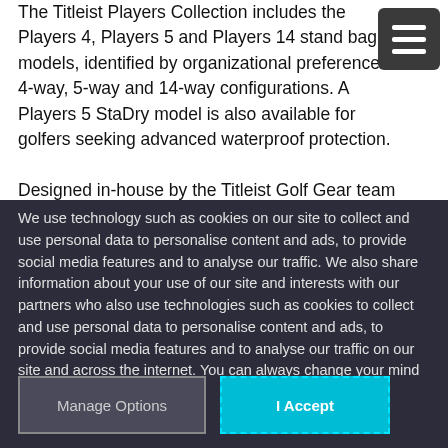The Titleist Players Collection includes the Players 4, Players 5 and Players 14 stand bag models, identified by organizational preference in 4-way, 5-way and 14-way configurations. A Players 5 StaDry model is also available for golfers seeking advanced waterproof protection.
Designed in-house by the Titleist Golf Gear team and manufactured using proprietary components for ultimate
We use technology such as cookies on our site to collect and use personal data to personalise content and ads, to provide social media features and to analyse our traffic. We also share information about your use of our site and interests with our partners who also use technologies such as cookies to collect and use personal data to personalise content and ads, to provide social media features and to analyse our traffic on our site and across the internet. You can always change your mind and revisit your choices.
Manage Options
I Accept